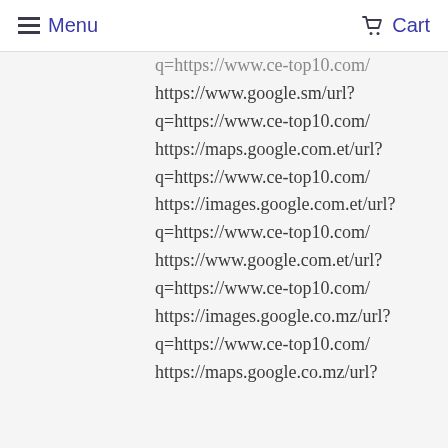Menu  Cart
q=https://www.ce-top10.com/
https://www.google.sm/url?
q=https://www.ce-top10.com/
https://maps.google.com.et/url?
q=https://www.ce-top10.com/
https://images.google.com.et/url?
q=https://www.ce-top10.com/
https://www.google.com.et/url?
q=https://www.ce-top10.com/
https://images.google.co.mz/url?
q=https://www.ce-top10.com/
https://maps.google.co.mz/url?